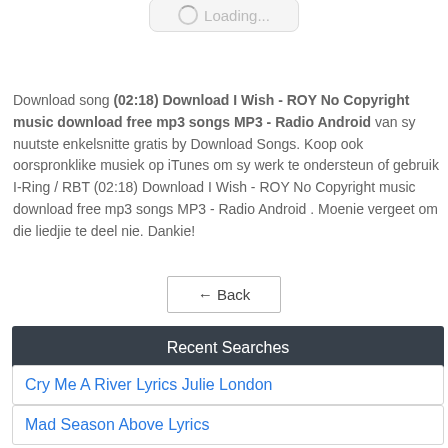[Figure (screenshot): Loading spinner button showing 'Loading...' text in a rounded box]
Download song (02:18) Download I Wish - ROY No Copyright music download free mp3 songs MP3 - Radio Android van sy nuutste enkelsnitte gratis by Download Songs. Koop ook oorspronklike musiek op iTunes om sy werk te ondersteun of gebruik I-Ring / RBT (02:18) Download I Wish - ROY No Copyright music download free mp3 songs MP3 - Radio Android . Moenie vergeet om die liedjie te deel nie. Dankie!
[Figure (screenshot): Back navigation button with left arrow]
Recent Searches
Cry Me A River Lyrics Julie London
Mad Season Above Lyrics